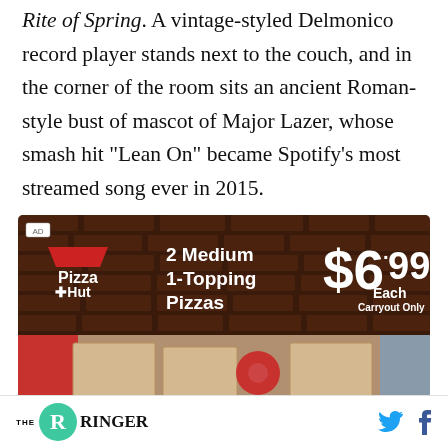Rite of Spring. A vintage-styled Delmonico record player stands next to the couch, and in the corner of the room sits an ancient Roman-style bust of mascot of Major Lazer, whose smash hit “Lean On” became Spotify’s most streamed song ever in 2015.
[Figure (photo): Pizza Hut advertisement: '2 Medium 1-Topping Pizzas $6.99 Each Carryout Only' with Pizza Hut logo on a brick background, and pizza boxes below with 'Medium 1-topping' text.]
THE RINGER [logo with social icons]